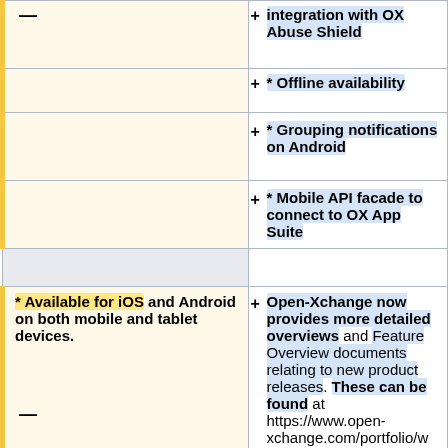| — | +integration with OX Abuse Shield |
|  | +* Offline availability |
|  | + * Grouping notifications on Android |
|  | + * Mobile API facade to connect to OX App Suite |
|  |  |
| * Available for iOS and Android on both mobile and tablet devices.
— | + Open-Xchange now provides more detailed overviews and Feature Overview documents relating to new product releases. These can be found at https://www.open-xchange.com/portfolio/whats-new/ |